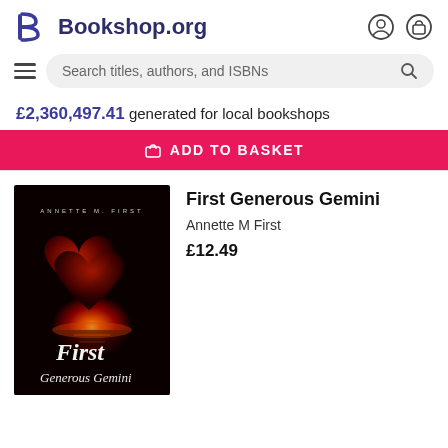[Figure (logo): Bookshop.org logo with stylized B and text]
Search titles, authors, and ISBNs
£2,360,497.41 generated for local bookshops
ADD TO BASKET
[Figure (photo): Book cover of First Generous Gemini by Annette M First, showing two red hearts with a glowing sunset, black background with italic script title text]
First Generous Gemini
Annette M First
£12.49